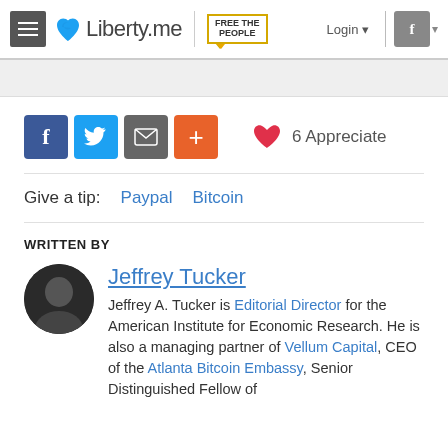Liberty.me | Free the People | Login
[Figure (screenshot): Social share buttons: Facebook, Twitter, Email, Plus; and 6 Appreciate with heart icon]
Give a tip: Paypal Bitcoin
WRITTEN BY
Jeffrey Tucker
Jeffrey A. Tucker is Editorial Director for the American Institute for Economic Research. He is also a managing partner of Vellum Capital, CEO of the Atlanta Bitcoin Embassy, Senior Distinguished Fellow of